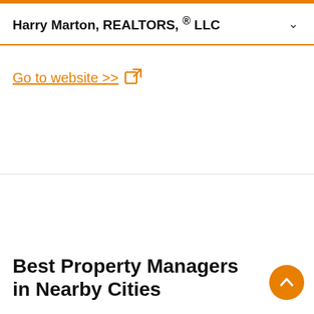Harry Marton, REALTORS, ® LLC
Go to website >>
Best Property Managers in Nearby Cities